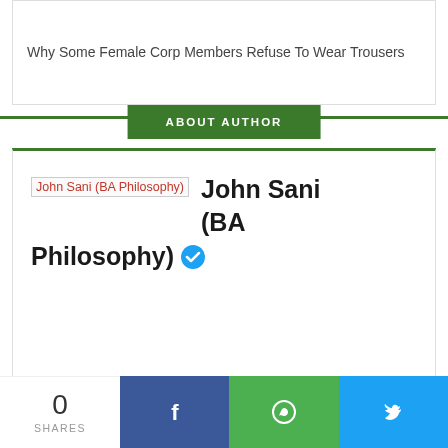Why Some Female Corp Members Refuse To Wear Trousers
ABOUT AUTHOR
John Sani (BA Philosophy)
RELATED POSTS SELECTED FOR YOU
[Figure (photo): Related post image placeholder with broken image icon and green rectangle in bottom-right corner]
0
SHARES